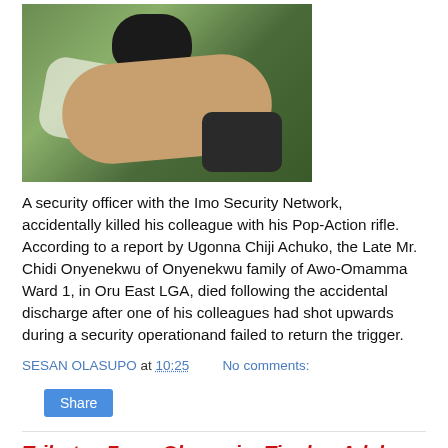[Figure (photo): A photograph showing what appears to be a body lying on the ground, with dark clothing and light cloth visible, on a green/earthy background.]
A security officer with the Imo Security Network, accidentally killed his colleague with his Pop-Action rifle. According to a report by Ugonna Chiji Achuko, the Late Mr. Chidi Onyenekwu of Onyenekwu family of Awo-Omamma Ward 1, in Oru East LGA, died following the accidental discharge after one of his colleagues had shot upwards during a security operationand failed to return the trigger.
SESAN OLASUPO at 10:25    No comments:
Share
Tributes From Obasanjo, Tinubu, Adeboye As Ebenezer Obey Marks 75th Birthday And